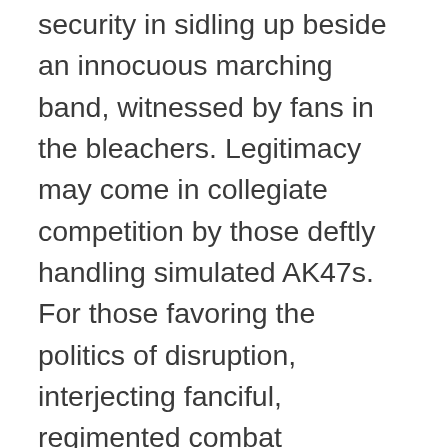security in sidling up beside an innocuous marching band, witnessed by fans in the bleachers. Legitimacy may come in collegiate competition by those deftly handling simulated AK47s. For those favoring the politics of disruption, interjecting fanciful, regimented combat simulation in say, The Rose Parade, would make violent response less savory for those with the power over life and death to interfere.
NOTE: I was going to use Benjamin Franklin's 1755 quote: "Those who would give up essential Liberty, to purchase a little temporary Safety, deserve neither Liberty nor Safety." It